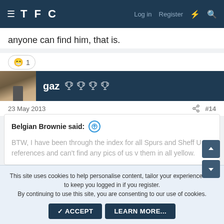TFC  Log in  Register
anyone can find him, that is.
😄 1
gaz 🏆🏆🏆🏆
23 May 2013  #14
Belgian Brownie said:  BTW, I have been through the index for all Spurs and Sheff U references and can't find any pics of us v them in all yellow.
This site uses cookies to help personalise content, tailor your experience and to keep you logged in if you register.
By continuing to use this site, you are consenting to our use of cookies.
✓ ACCEPT   LEARN MORE...